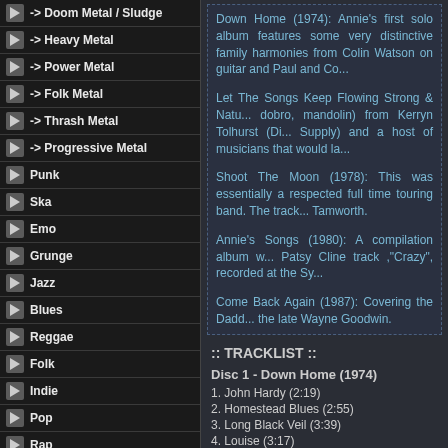-> Doom Metal / Sludge
-> Heavy Metal
-> Power Metal
-> Folk Metal
-> Thrash Metal
-> Progressive Metal
Punk
Ska
Emo
Grunge
Jazz
Blues
Reggae
Folk
Indie
Pop
Rap
Chanson
Soundtrack
Video
Live
Clip
Down Home (1974): Annie's first solo album features some very distinctive family harmonies from Colin Watson on guitar and Paul and Co...
Let The Songs Keep Flowing Strong & Natu... dobro, mandolin) from Kerryn Tolhurst (Di... Supply) and a host of musicians that would la...
Shoot The Moon (1978): This was essentially a respected full time touring band. The track... Tamworth.
Annie's Songs (1980): A compilation album w... Patsy Cline track ,"Crazy", recorded at the Sy...
Come Back Again (1987): Covering the Dadd... the late Wayne Goodwin.
:: TRACKLIST ::
Disc 1 - Down Home (1974)
1. John Hardy (2:19)
2. Homestead Blues (2:55)
3. Long Black Veil (3:39)
4. Louise (3:17)